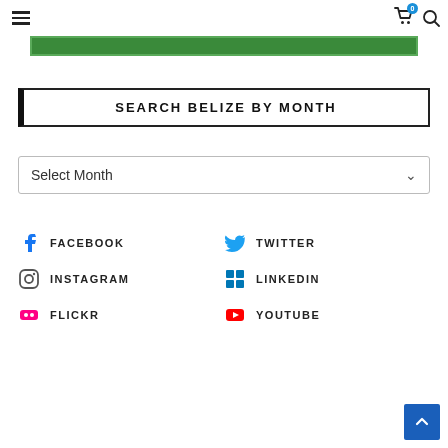Navigation header with hamburger menu, cart (0), and search icons
[Figure (other): Green banner/header bar with border]
SEARCH BELIZE BY MONTH
Select Month (dropdown)
FACEBOOK
TWITTER
INSTAGRAM
LINKEDIN
FLICKR
YOUTUBE